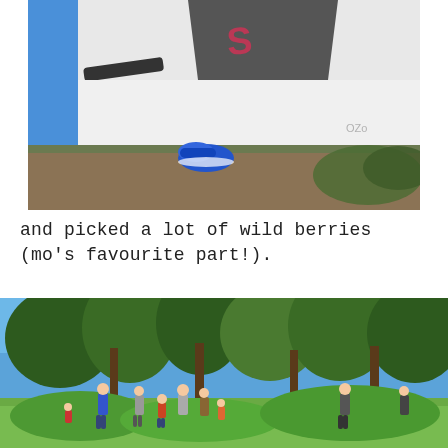[Figure (photo): A white camping tent with a blue shoe/sandal at its entrance, set on dry grass and dirt ground with green foliage in the background.]
and picked a lot of wild berries (mo's favourite part!).
[Figure (photo): A group of people standing in a meadow clearing surrounded by tall evergreen trees under a bright blue sky, picking berries.]